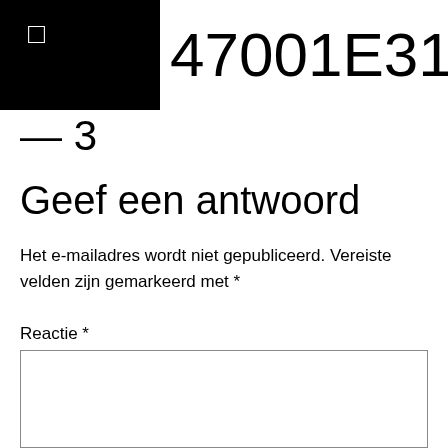□ 47001E31365016203
— 3
Geef een antwoord
Het e-mailadres wordt niet gepubliceerd. Vereiste velden zijn gemarkeerd met *
Reactie *